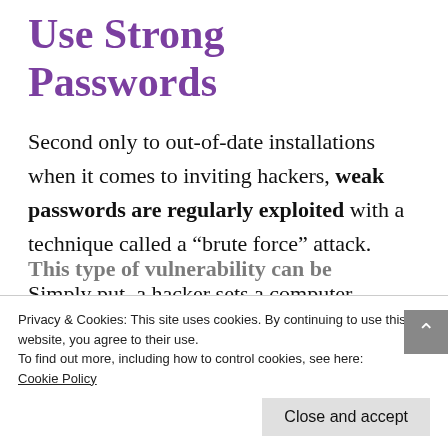Use Strong Passwords
Second only to out-of-date installations when it comes to inviting hackers, weak passwords are regularly exploited with a technique called a “brute force” attack.
Simply put, a hacker sets a computer program (or “bot”) to repeatedly
This type of vulnerability can be
Privacy & Cookies: This site uses cookies. By continuing to use this website, you agree to their use.
To find out more, including how to control cookies, see here:
Cookie Policy
Close and accept